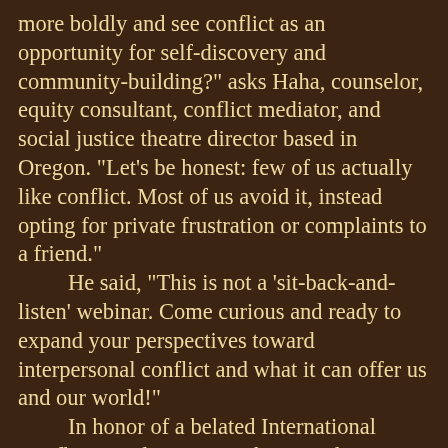more boldly and see conflict as an opportunity for self-discovery and community-building?" asks Haha, counselor, equity consultant, conflict mediator, and social justice theatre director based in Oregon. "Let's be honest: few of us actually like conflict. Most of us avoid it, instead opting for private frustration or complaints to a friend."

He said, "This is not a 'sit-back-and-listen' webinar. Come curious and ready to expand your perspectives toward interpersonal conflict and what it can offer us and our world!"

In honor of a belated International Conflict Resolution Day, the event begins with an Overview of Rotary's Peace Initiatives introduction by Rotarian Tim Hansen.

This free event is the sixth in the Kakou: Let's Work It Out! workshop series, co-hosted by the County of Hawai'i Office of the Prosecuting Attorney, Ku'ikahi Mediation Center, Rotary Club of Hilo, Rotary Club of Hilo Bay, Rotary Club of South Hilo, Rotary Club of Volcano, UH-Hilo Political Science & Administration of Justice Department, and UH-Hilo International Student Services & Intercultural Education Office.

Visit https://kakou2021.eventbrite.com to register for this free online workshop and receive the Zoom link. Or RSVP to